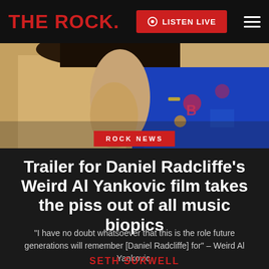THE ROCK. | LISTEN LIVE
[Figure (photo): Partial view of a person in a blue patterned shirt, face cropped at top, hero image for article]
ROCK NEWS
Trailer for Daniel Radcliffe's Weird Al Yankovic film takes the piss out of all music biopics
“I have no doubt whatsoever that this is the role future generations will remember [Daniel Radcliffe] for” – Weird Al Yankovic.
SETH SURWELL